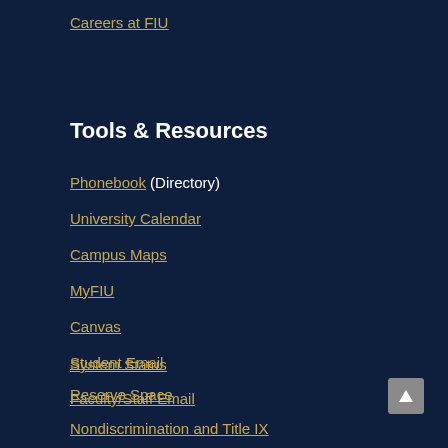Careers at FIU
Tools & Resources
Phonebook (Directory)
University Calendar
Campus Maps
MyFIU
Canvas
Student Email
Faculty/Staff Email
System Status
Reserve Space
Nondiscrimination and Title IX